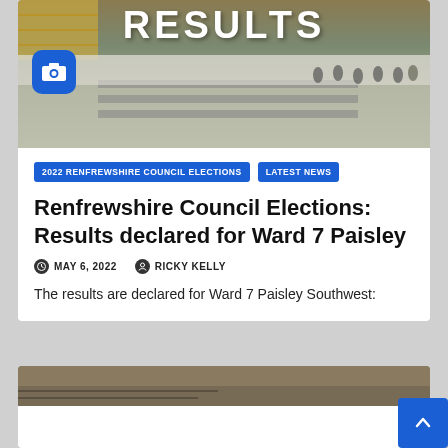[Figure (photo): Photo of an election count venue with tables and people, overlaid with large 'RESULTS' text and a camera icon badge]
2022 RENFREWSHIRE COUNCIL ELECTIONS
LATEST NEWS
Renfrewshire Council Elections: Results declared for Ward 7 Paisley
MAY 6, 2022
RICKY KELLY
The results are declared for Ward 7 Paisley Southwest:
[Figure (photo): Partial image of another election-related photo at the bottom of the page]